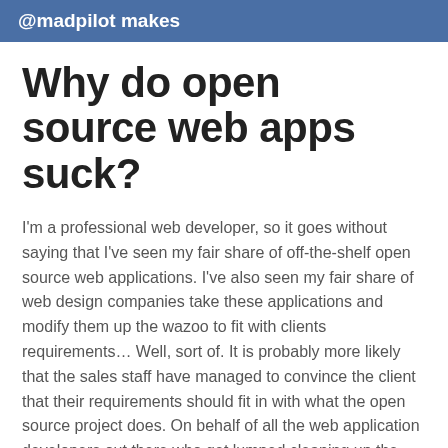@madpilot makes
Why do open source web apps suck?
I'm a professional web developer, so it goes without saying that I've seen my fair share of off-the-shelf open source web applications. I've also seen my fair share of web design companies take these applications and modify them up the wazoo to fit with clients requirements… Well, sort of. It is probably more likely that the sales staff have managed to convince the client that their requirements should fit in with what the open source project does. On behalf of all the web application developers out there who get lumped cleaning up the mess: STOP IT.
Modifying open source software seems like a perfect solution to managers – the solution is almost done, so surely it is just a matter of a few tweaks here and there, a splash of paint and